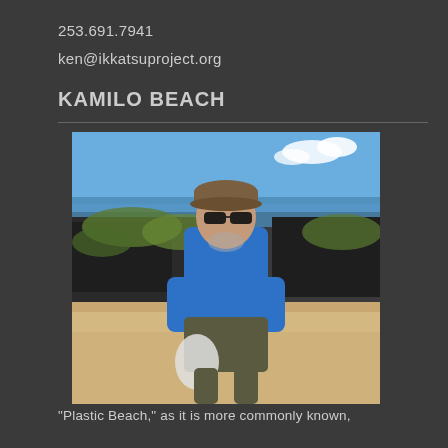253.691.7941
ken@ikkatsuproject.org
KAMILO BEACH
[Figure (photo): A man wearing sunglasses and a blue t-shirt standing on Kamilo Beach (also known as Plastic Beach), holding a white plastic bag. Rocky shoreline and ocean visible in the background, with blue sky and clouds.]
"Plastic Beach," as it is more commonly known,